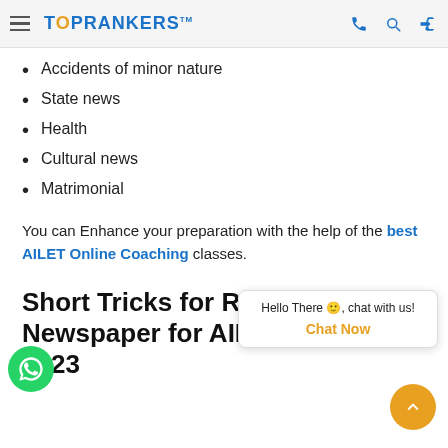TOPRANKERS
Accidents of minor nature
State news
Health
Cultural news
Matrimonial
You can Enhance your preparation with the help of the best AILET Online Coaching classes.
Short Tricks for Reading Newspaper for AILET Exam 2023